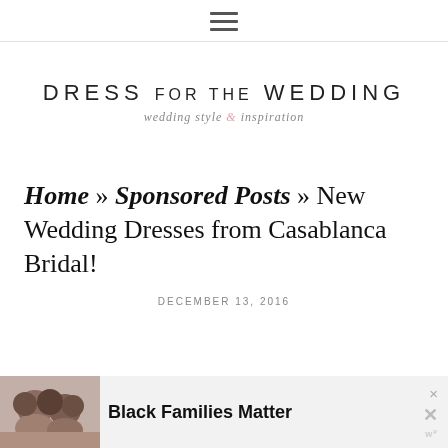≡ (hamburger menu icon)
DRESS FOR THE WEDDING
wedding style & inspiration
Home » Sponsored Posts » New Wedding Dresses from Casablanca Bridal!
DECEMBER 13, 2016
[Figure (other): Advertisement banner showing two smiling women with text 'Black Families Matter']